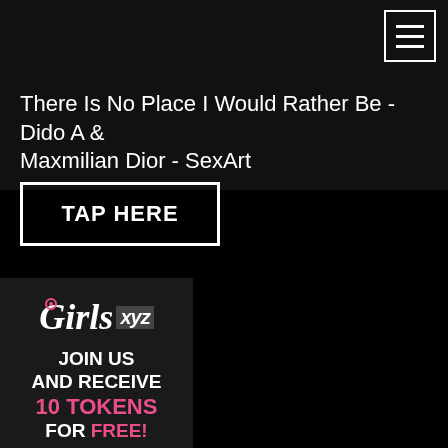[Figure (other): Hamburger menu icon (three horizontal lines) in a square border, top-right navigation]
There Is No Place I Would Rather Be - Dido A & Maxmilian Dior - SexArt
TAP HERE
[Figure (infographic): Girls.xyz ad banner with logo, text: JOIN US AND RECEIVE 10 TOKENS FOR FREE!]